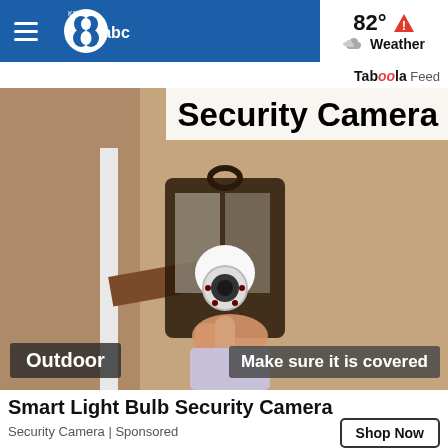KSBW abc — Navigation bar with weather: 82° Weather
Taboola Feed
[Figure (photo): Advertisement photo showing a person's hand screwing a smart light bulb security camera into an outdoor lantern-style fixture mounted on a stucco wall. Overlaid text reads 'Security Camera' in the upper right, 'Outdoor' in lower left, and 'Make sure it is covered' in lower right.]
Smart Light Bulb Security Camera
Security Camera | Sponsored
Shop Now